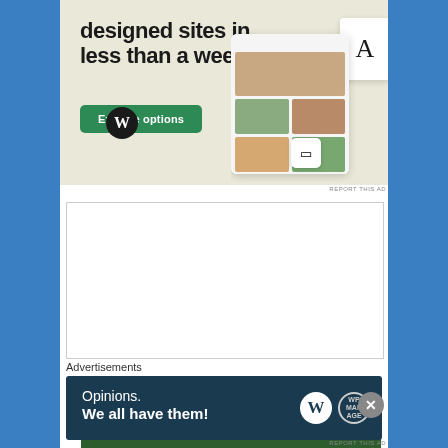[Figure (illustration): WordPress advertisement showing 'designed sites in less than a week' text with green Explore options button, WordPress logo, and website mockup screenshots of food/restaurant site on beige background]
[Figure (screenshot): Video player showing a scene with people near a dark van on a road surrounded by trees, appearing to be a movie or show clip]
Advertisements
[Figure (illustration): WordPress advertisement on dark navy background reading 'Opinions. We all have them!' with WordPress W logo and WP Manage logo circles on right side]